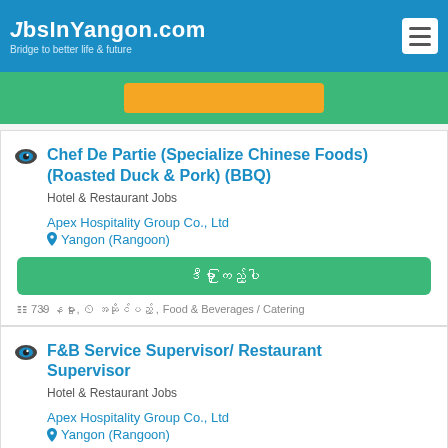JobsInYangon.com — Bridge to better life & future
Chef De Partie (Specialize Chinese Foods) (Roasted Duck & Pork) (BBQ)
Hotel & Restaurant Jobs
Apex Hospitality Group Co., Ltd
Yangon (Rangoon)
ဒီမှာ ကြည့်ပါ
739 နေမှုား, အဆိုင်ပည့် , Food & Beverages / Catering
F&B Service Supervisor/ Restaurant Supervisor
Hotel & Restaurant Jobs
Apex Hospitality Group Co., Ltd
Yangon (Rangoon)
ဒီမှာ ကြည့်ပါ